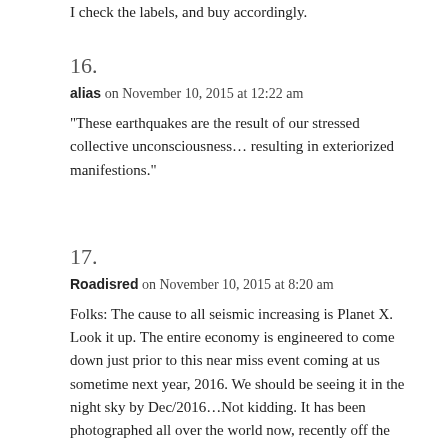I check the labels, and buy accordingly.
16.
alias on November 10, 2015 at 12:22 am
“These earthquakes are the result of our stressed collective unconsciousness… resulting in exteriorized manifestions.”
17.
Roadisred on November 10, 2015 at 8:20 am
Folks: The cause to all seismic increasing is Planet X. Look it up. The entire economy is engineered to come down just prior to this near miss event coming at us sometime next year, 2016. We should be seeing it in the night sky by Dec/2016…Not kidding. It has been photographed all over the world now, recently off the